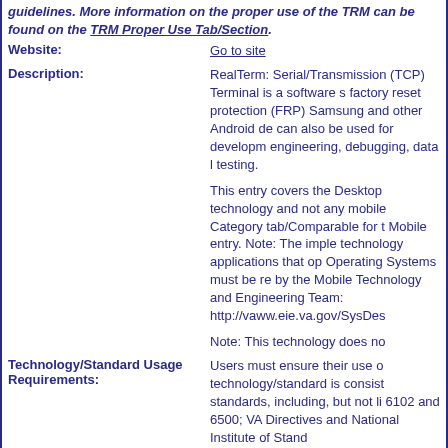guidelines. More information on the proper use of the TRM can be found on the TRM Proper Use Tab/Section.
Website:
Go to site
Description:
RealTerm: Serial/Transmission (TCP) Terminal is a software s... factory reset protection (FRP) Samsung and other Android de... can also be used for developm... engineering, debugging, data l... testing.

This entry covers the Desktop technology and not any mobile Category tab/Comparable for t... Mobile entry. Note: The imple... technology applications that op... Operating Systems must be re... by the Mobile Technology and Engineering Team: http://vaww.eie.va.gov/SysDes...

Note: This technology does no...
Technology/Standard Usage Requirements:
Users must ensure their use o... technology/standard is consist... standards, including, but not li... 6102 and 6500; VA Directives ... and National Institute of Stand...